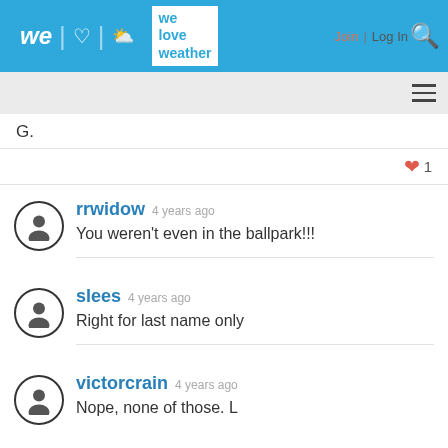we love weather — Join | Log In
G.
rrwidow 4 years ago — You weren't even in the ballpark!!!
slees 4 years ago — Right for last name only
victorcrain 4 years ago — Nope, none of those. L